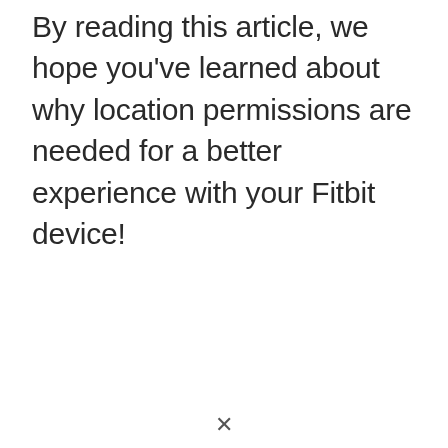By reading this article, we hope you've learned about why location permissions are needed for a better experience with your Fitbit device!